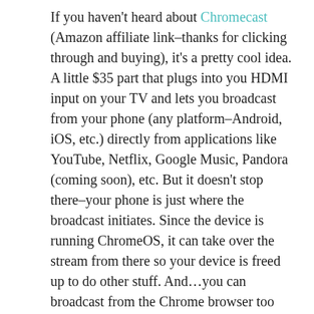If you haven't heard about Chromecast (Amazon affiliate link–thanks for clicking through and buying), it's a pretty cool idea. A little $35 part that plugs into you HDMI input on your TV and lets you broadcast from your phone (any platform–Android, iOS, etc.) directly from applications like YouTube, Netflix, Google Music, Pandora (coming soon), etc. But it doesn't stop there–your phone is just where the broadcast initiates. Since the device is running ChromeOS, it can take over the stream from there so your device is freed up to do other stuff. And…you can broadcast from the Chrome browser too (for stuff like Amazon streaming)…provided your device will allow you to run Chrome.
Pretty smart. Pretty cool. And, they've made the SDK available for any app developer to sync up and stream from their apps. Again–it doesn't matter what platform your device is running on.